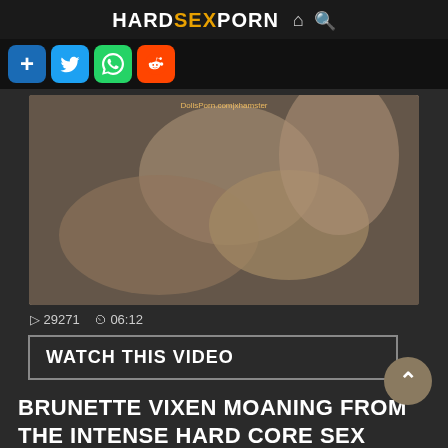HARDSEXPORN
[Figure (screenshot): Screenshot of a website header with social share buttons: add, Twitter, WhatsApp, Reddit]
[Figure (photo): Video thumbnail showing adult content. Watermark: DollsPorn.com|xhamster]
▷ 29271 ⏱ 06:12
WATCH THIS VIDEO
BRUNETTE VIXEN MOANING FROM THE INTENSE HARD CORE SEX
◇ DOLLS PORN  ◇ WTFPASS  ◇ PAULINA SEIKOLA